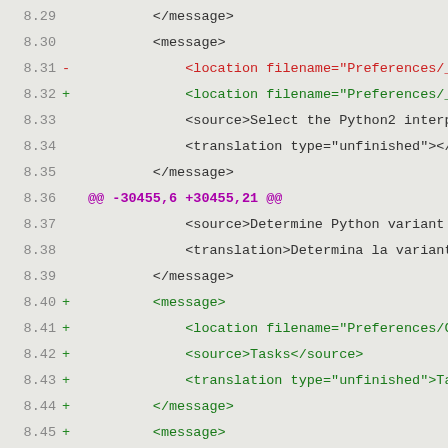Code diff showing XML message blocks with line numbers 8.29 through 8.49, including hunk header @@ -30455,6 +30455,21 @@ and added/removed location, source, and translation tags